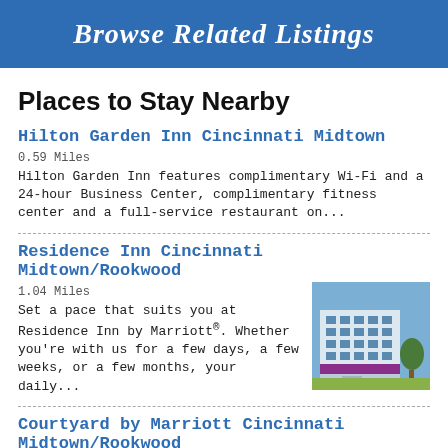Browse Related Listings
Places to Stay Nearby
Hilton Garden Inn Cincinnati Midtown
0.59 Miles
Hilton Garden Inn features complimentary Wi-Fi and a 24-hour Business Center, complimentary fitness center and a full-service restaurant on...
Residence Inn Cincinnati Midtown/Rookwood
1.04 Miles
Set a pace that suits you at Residence Inn by Marriott®. Whether you're with us for a few days, a few weeks, or a few months, your daily...
[Figure (photo): Exterior photo of Residence Inn Cincinnati Midtown/Rookwood, a modern multi-story glass office building with blue sky background.]
Courtyard by Marriott Cincinnati Midtown/Rookwood
1.04 Miles
Whether traveling for business or fun, The Courtyard by Marriott® makes all of your travels successfull From the moment you arrive...
[Figure (photo): Interior photo of Courtyard by Marriott Cincinnati Midtown/Rookwood, showing a hotel room corridor with warm lighting.]